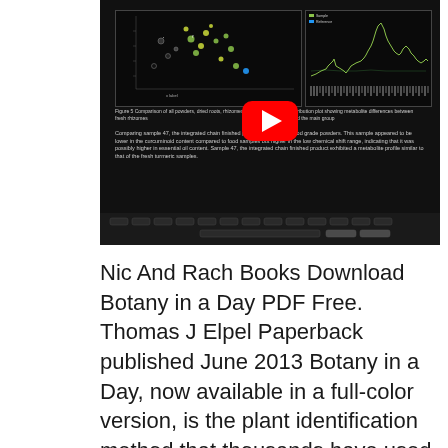[Figure (screenshot): A YouTube video thumbnail/player showing a presentation screen with scatter plots and contribution plots about turmeric metabolite analysis. The screen displays Figure 5 (Comparison of all powders, dried roots, rhizomes and fresh rhizomes) and Figure 6 (Contribution plot showing metabolite differences between sample 47 and the main group). Text on screen discusses comparing sample 47, the integrated chain finished product, against food grade powders. A red YouTube play button is visible in the center.]
Nic And Rach Books Download Botany in a Day PDF Free. Thomas J Elpel Paperback published June 2013 Botany in a Day, now available in a full-color version, is the plant identification method that thousands have used and loved. This the quickest, easiest, most...